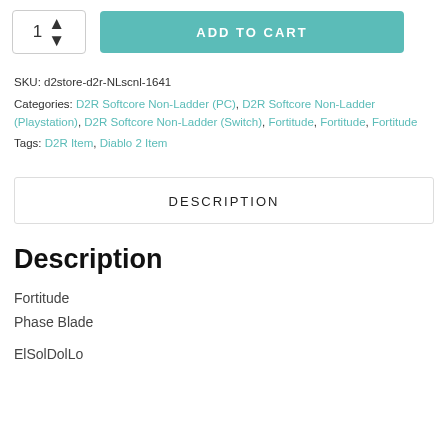[Figure (screenshot): Quantity selector box showing '1' with up/down arrows, and a teal 'ADD TO CART' button]
SKU: d2store-d2r-NLscnl-1641
Categories: D2R Softcore Non-Ladder (PC), D2R Softcore Non-Ladder (Playstation), D2R Softcore Non-Ladder (Switch), Fortitude, Fortitude, Fortitude
Tags: D2R Item, Diablo 2 Item
DESCRIPTION
Description
Fortitude
Phase Blade
ElSolDolLo